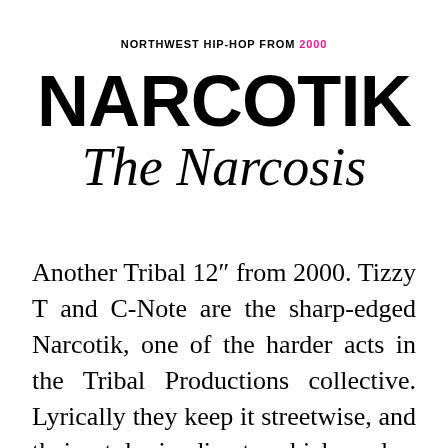NORTHWEST HIP-HOP FROM 2000
NARCOTIK
The Narcosis
Another Tribal 12″ from 2000. Tizzy T and C-Note are the sharp-edged Narcotik, one of the harder acts in the Tribal Productions collective. Lyrically they keep it streetwise, and their style is direct, which makes them somewhat of an anomaly when compared to Ghetto Chilldren or Union of